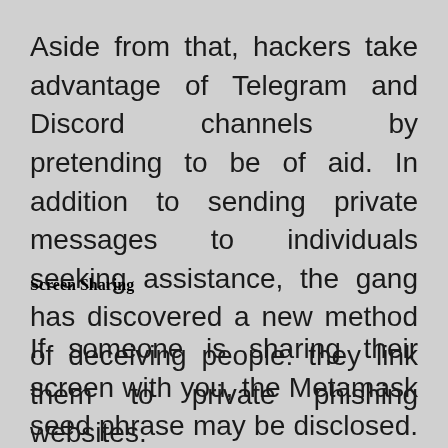Aside from that, hackers take advantage of Telegram and Discord channels by pretending to be of aid. In addition to sending private messages to individuals seeking assistance, the gang has discovered a new method of deceiving people: they link them to private phishing websites.
Screen Sharing
If someone is sharing their screen with you, the Metamask seed phrase may be disclosed. Hackers frequently take control of customer service